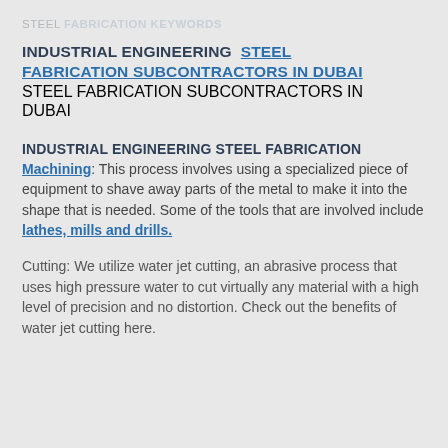STEEL FABRICATION KEYWORDS
INDUSTRIAL ENGINEERING  STEEL FABRICATION SUBCONTRACTORS IN DUBAI
STEEL FABRICATION SUBCONTRACTORS IN DUBAI
INDUSTRIAL ENGINEERING STEEL FABRICATION Machining: This process involves using a specialized piece of equipment to shave away parts of the metal to make it into the shape that is needed. Some of the tools that are involved include lathes, mills and drills.
Cutting: We utilize water jet cutting, an abrasive process that uses high pressure water to cut virtually any material with a high level of precision and no distortion. Check out the benefits of water jet cutting here.